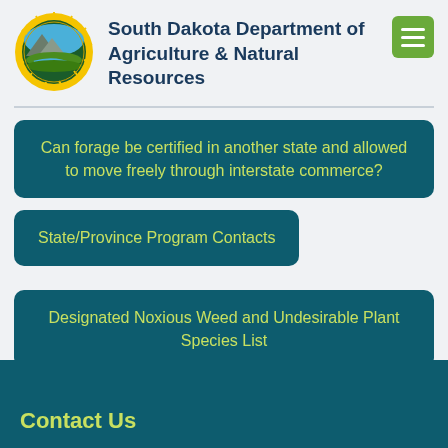[Figure (logo): South Dakota Department of Agriculture & Natural Resources circular seal/logo with sunburst border, mountains, river, and fields]
South Dakota Department of Agriculture & Natural Resources
Can forage be certified in another state and allowed to move freely through interstate commerce?
State/Province Program Contacts
Designated Noxious Weed and Undesirable Plant Species List
Contact Us